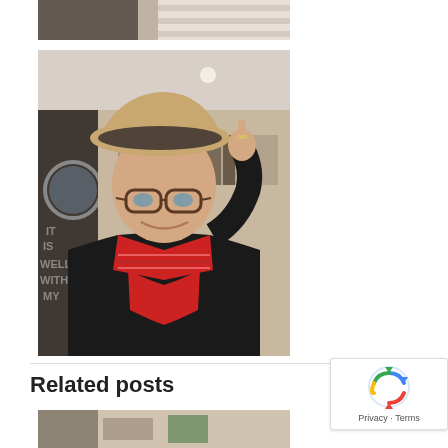[Figure (photo): Partial view of a photo at the top, appears to be a room interior with striped fabric visible]
[Figure (photo): Woman wearing a tan/beige hat with a dark patterned headband underneath, glasses, and a red/pink plaid scarf, pointing upward with one finger, smiling, in an interior room]
Related posts
[Figure (photo): Partial view of another photo at the bottom, appears to show a room interior]
[Figure (other): reCAPTCHA privacy badge with rotating arrows icon and Privacy - Terms text]